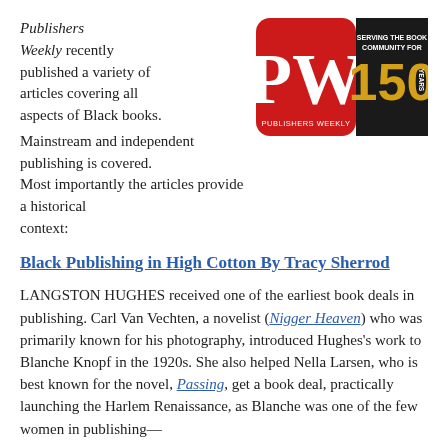Publishers Weekly recently published a variety of articles covering all aspects of Black books. Mainstream and independent publishing is covered. Most importantly the articles provide a historical context:
[Figure (logo): Publishers Weekly logo — PW initials in white on red background, with 'SERVING THE BOOK COMMUNITY FOR 150 YEARS' text on black background]
Black Publishing in High Cotton By Tracy Sherrod
LANGSTON HUGHES received one of the earliest book deals in publishing. Carl Van Vechten, a novelist (Nigger Heaven) who was primarily known for his photography, introduced Hughes's work to Blanche Knopf in the 1920s. She also helped Nella Larsen, who is best known for the novel, Passing, get a book deal, practically launching the Harlem Renaissance, as Blanche was one of the few women in publishing—